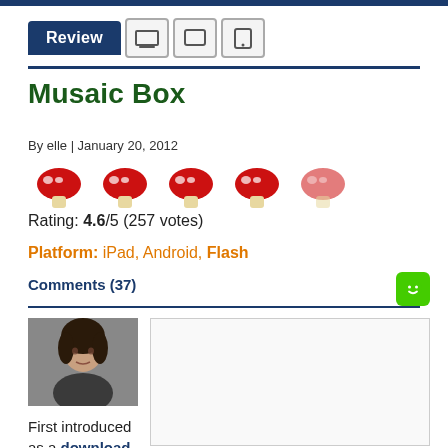Review
Musaic Box
By elle | January 20, 2012
[Figure (illustration): Five red mushroom emoji icons representing a 4.6/5 star rating]
Rating: 4.6/5 (257 votes)
Platform: iPad, Android, Flash
Comments (37)
[Figure (photo): Profile photo of a woman with dark hair]
First introduced as a download in 2009